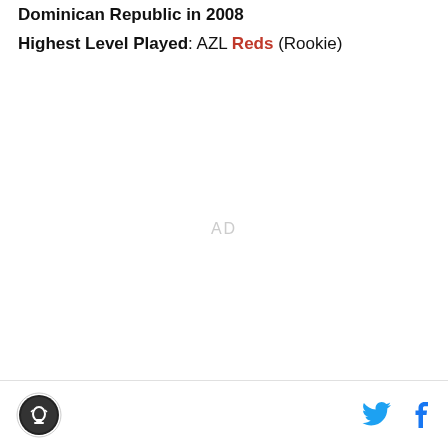Draft Acquisition Details: Signed out of the Dominican Republic in 2008
Highest Level Played: AZL Reds (Rookie)
[Figure (other): AD placeholder text in light gray]
Footer with site logo and social media icons (Twitter, Facebook)